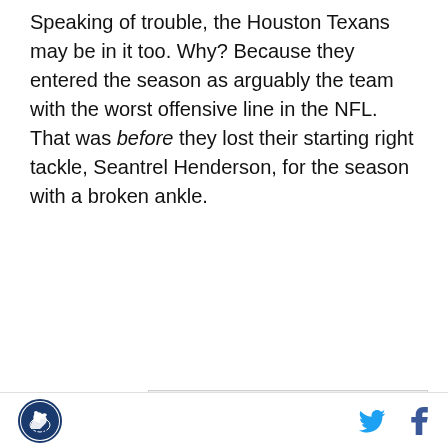Speaking of trouble, the Houston Texans may be in it too. Why? Because they entered the season as arguably the team with the worst offensive line in the NFL. That was before they lost their starting right tackle, Seantrel Henderson, for the season with a broken ankle.
[Figure (other): Samsung advertisement showing Galaxy Z Fold4 phone with offer: Get a free storage upgrade and case with S Pen with pre-order]
Site logo (horse icon), Twitter icon, Facebook icon